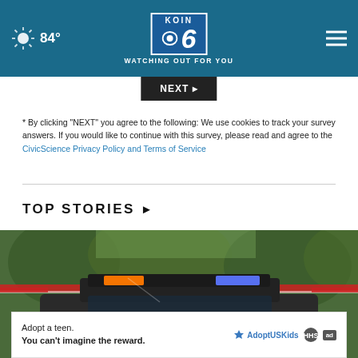84° KOIN 6 CBS WATCHING OUT FOR YOU
[Figure (screenshot): NEXT button in dark background]
* By clicking "NEXT" you agree to the following: We use cookies to track your survey answers. If you would like to continue with this survey, please read and agree to the CivicScience Privacy Policy and Terms of Service
TOP STORIES ▸
[Figure (photo): Portland Police vehicle with red and blue emergency lights active, red caution tape in background with trees]
[Figure (infographic): Ad banner: Adopt a teen. You can't imagine the reward. AdoptUSKids logo with HHS and ad badges.]